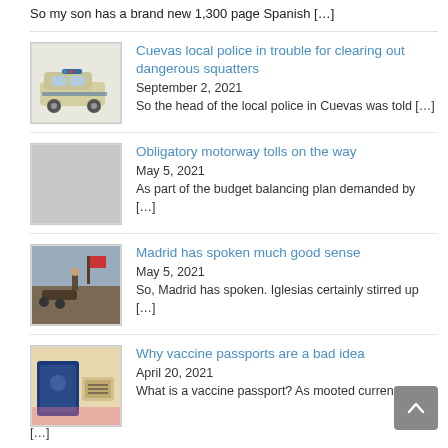So my son has a brand new 1,300 page Spanish […]
Cuevas local police in trouble for clearing out dangerous squatters | September 2, 2021 | So the head of the local police in Cuevas was told […]
Obligatory motorway tolls on the way | May 5, 2021 | As part of the budget balancing plan demanded by […]
Madrid has spoken much good sense | May 5, 2021 | So, Madrid has spoken. Iglesias certainly stirred up […]
Why vaccine passports are a bad idea | April 20, 2021 | What is a vaccine passport? As mooted currently in […]